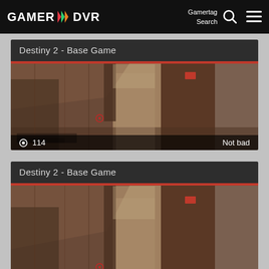GAMER DVR — Gamertag Search
Destiny 2 - Base Game
[Figure (screenshot): Destiny 2 Base Game gameplay screenshot showing stone wall corridor, view count 114, labeled Not bad]
Destiny 2 - Base Game
[Figure (screenshot): Destiny 2 Base Game gameplay screenshot showing same stone wall corridor scene, second card, partially visible]